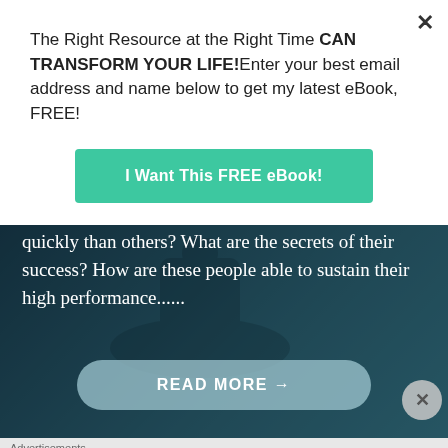The Right Resource at the Right Time CAN TRANSFORM YOUR LIFE!Enter your best email address and name below to get my latest eBook, FREE!
I Want This FREE eBook!
[Figure (photo): Hero image with dark teal background showing a person, with large white serif text overlay reading: Ever wondered why some people succeed more quickly than others? What are the secrets of their success? How are these people able to sustain their high performance......]
READ MORE →
Advertisements
[Figure (infographic): DuckDuckGo advertisement banner: orange left section with text 'Search, browse, and email with more privacy. All in One Free App' and dark right section with DuckDuckGo logo]